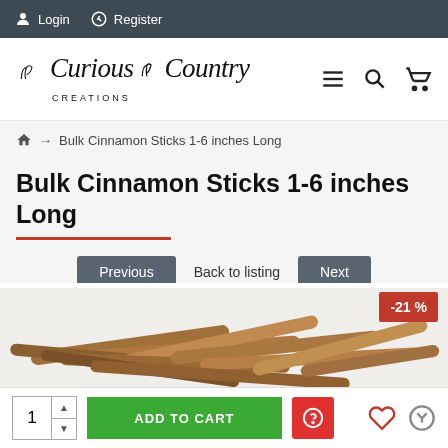Login  Register
[Figure (logo): Curious Country Creations logo with tulip decorations and navigation icons (hamburger menu, search, cart)]
🏠 → Bulk Cinnamon Sticks 1-6 inches Long
Bulk Cinnamon Sticks 1-6 inches Long
Previous  Back to listing  Next
[Figure (photo): Product photo of bulk cinnamon sticks 1-6 inches long, showing a pile of cinnamon sticks on white background, with a -21% discount badge in the top right corner]
1  ADD TO CART  [?]  ♡  ↩